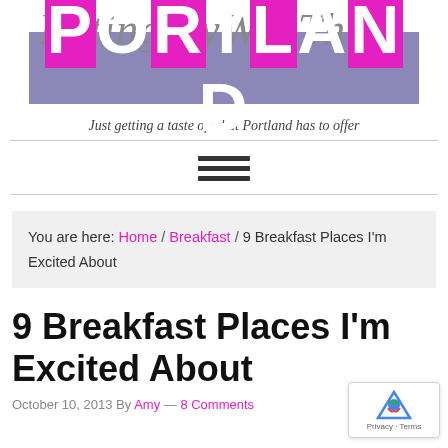[Figure (logo): EatingMyWayThru Portland blog logo with script text over purple/pink block letters]
Just getting a taste of what Portland has to offer
You are here: Home / Breakfast / 9 Breakfast Places I'm Excited About
9 Breakfast Places I'm Excited About
October 10, 2013 By Amy — 8 Comments